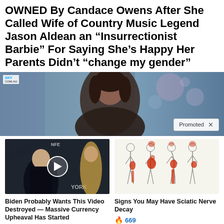OWNED By Candace Owens After She Called Wife of Country Music Legend Jason Aldean an “Insurrectionist Barbie” For Saying She’s Happy Her Parents Didn’t “change my gender”
[Figure (photo): A woman with dark hair on a TV news broadcast set with blue bokeh background; Sky News logo visible top left; 'Promoted X' badge in bottom right corner]
[Figure (photo): Video thumbnail of a man in a suit at a news desk with a play button overlay; text overlay 'YORK']
Biden Probably Wants This Video Destroyed — Massive Currency Upheaval Has Started
🔥 137,935
[Figure (illustration): Medical illustration showing human body outlines with red highlighted areas indicating sciatic nerve pain locations, multiple figures in different postures]
Signs You May Have Sciatic Nerve Decay
🔥 669